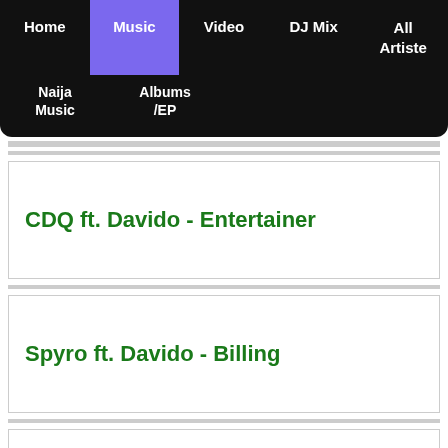Home | Music | Video | DJ Mix | All Artiste | Naija Music | Albums /EP
CDQ ft. Davido - Entertainer
Spyro ft. Davido - Billing
Gyakie ft. Davido - Flames